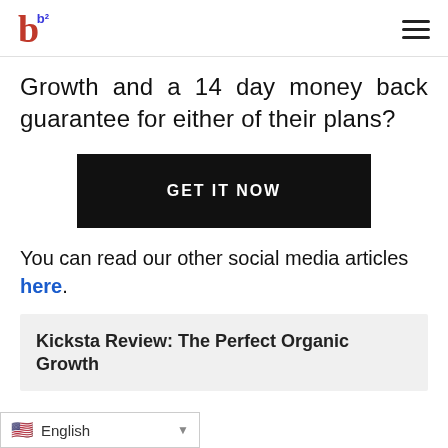b [logo] with hamburger menu icon
Growth and a 14 day money back guarantee for either of their plans?
[Figure (other): Black button with white uppercase text reading GET IT NOW]
You can read our other social media articles here.
Kicksta Review: The Perfect Organic Growth
English (language selector dropdown)